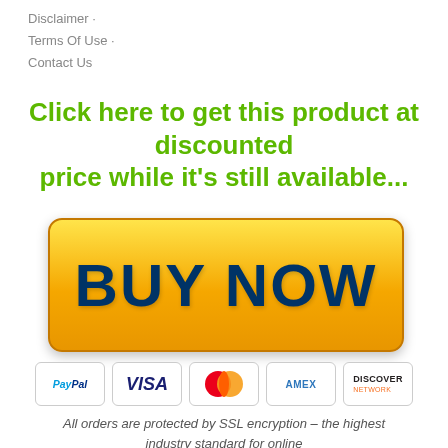Disclaimer · Terms Of Use · Contact Us
Click here to get this product at discounted price while it's still available...
[Figure (other): Yellow gradient BUY NOW button with dark blue bold text]
[Figure (other): Payment method icons: PayPal, VISA, MasterCard, AMEX, DISCOVER]
All orders are protected by SSL encryption – the highest industry standard for online